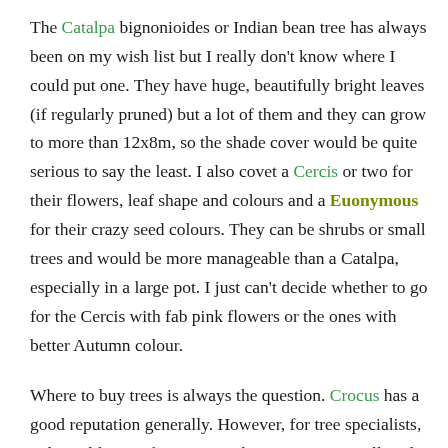deserve a permanent place in this garden. The Catalpa bignonioides or Indian bean tree has always been on my wish list but I really don't know where I could put one. They have huge, beautifully bright leaves (if regularly pruned) but a lot of them and they can grow to more than 12x8m, so the shade cover would be quite serious to say the least. I also covet a Cercis or two for their flowers, leaf shape and colours and a Euonymous for their crazy seed colours. They can be shrubs or small trees and would be more manageable than a Catalpa, especially in a large pot. I just can't decide whether to go for the Cercis with fab pink flowers or the ones with better Autumn colour.
Where to buy trees is always the question. Crocus has a good reputation generally. However, for tree specialists, online I like Barcham Trees where you can actually select the tree you are buying from a moving photo of it but my favourite place to buy trees is Frank P Matthews Ltd whose brand is Trees for Life. They are just outside Tenbury Wells...